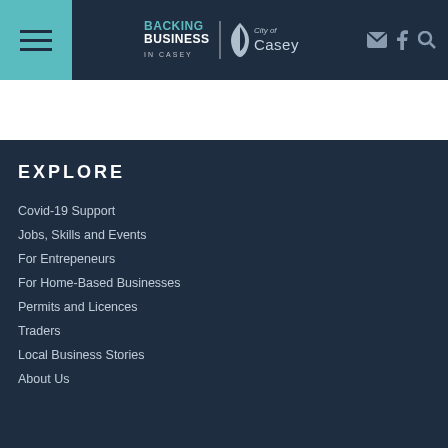Backing Business in Casey | City of Casey
EXPLORE
Covid-19 Support
Jobs, Skills and Events
For Entrepeneurs
For Home-Based Businesses
Permits and Licences
Traders
Local Business Stories
About Us